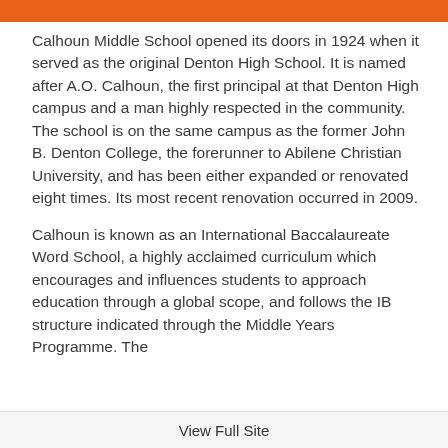Calhoun Middle School opened its doors in 1924 when it served as the original Denton High School. It is named after A.O. Calhoun, the first principal at that Denton High campus and a man highly respected in the community. The school is on the same campus as the former John B. Denton College, the forerunner to Abilene Christian University, and has been either expanded or renovated eight times. Its most recent renovation occurred in 2009.
Calhoun is known as an International Baccalaureate Word School, a highly acclaimed curriculum which encourages and influences students to approach education through a global scope, and follows the IB structure indicated through the Middle Years Programme. The
View Full Site